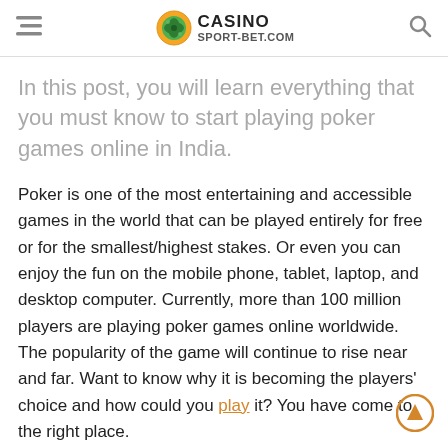CASINO SPORT-BET.COM
In this post, you will learn everything that you must know to start playing poker games online in India.
Poker is one of the most entertaining and accessible games in the world that can be played entirely for free or for the smallest/highest stakes. Or even you can enjoy the fun on the mobile phone, tablet, laptop, and desktop computer. Currently, more than 100 million players are playing poker games online worldwide. The popularity of the game will continue to rise near and far. Want to know why it is becoming the players' choice and how could you play it? You have come to the right place.